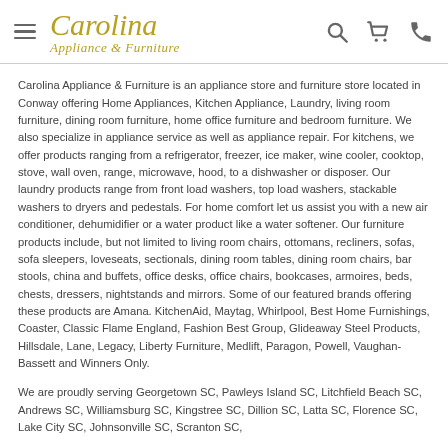Carolina Appliance & Furniture
Carolina Appliance & Furniture is an appliance store and furniture store located in Conway offering Home Appliances, Kitchen Appliance, Laundry, living room furniture, dining room furniture, home office furniture and bedroom furniture. We also specialize in appliance service as well as appliance repair. For kitchens, we offer products ranging from a refrigerator, freezer, ice maker, wine cooler, cooktop, stove, wall oven, range, microwave, hood, to a dishwasher or disposer. Our laundry products range from front load washers, top load washers, stackable washers to dryers and pedestals. For home comfort let us assist you with a new air conditioner, dehumidifier or a water product like a water softener. Our furniture products include, but not limited to living room chairs, ottomans, recliners, sofas, sofa sleepers, loveseats, sectionals, dining room tables, dining room chairs, bar stools, china and buffets, office desks, office chairs, bookcases, armoires, beds, chests, dressers, nightstands and mirrors. Some of our featured brands offering these products are Amana. KitchenAid, Maytag, Whirlpool, Best Home Furnishings, Coaster, Classic Flame England, Fashion Best Group, Glideaway Steel Products, Hillsdale, Lane, Legacy, Liberty Furniture, Medlift, Paragon, Powell, Vaughan-Bassett and Winners Only.
We are proudly serving Georgetown SC, Pawleys Island SC, Litchfield Beach SC, Andrews SC, Williamsburg SC, Kingstree SC, Dillion SC, Latta SC, Florence SC, Lake City SC, Johnsonville SC, Scranton SC,